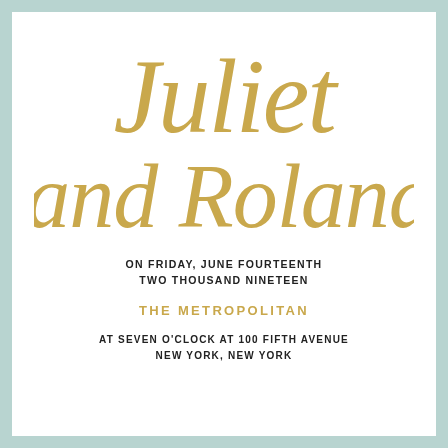Juliet and Roland
ON FRIDAY, JUNE FOURTEENTH
TWO THOUSAND NINETEEN
THE METROPOLITAN
AT SEVEN O'CLOCK AT 100 FIFTH AVENUE
NEW YORK, NEW YORK